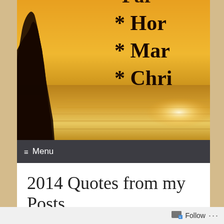[Figure (photo): Sunset beach scene with silhouette of a person on the left, warm orange sky and glittering water, with overlaid bold text menu items: * Hor, * Mar, * Chri, partially visible]
≡ Menu
2014 Quotes from my Posts
Follow ...